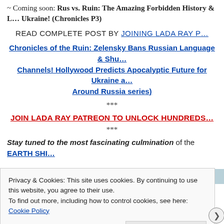~ Coming soon: Rus vs. Ruin: The Amazing Forbidden History & L… Ukraine! (Chronicles P3)
READ COMPLETE POST BY JOINING LADA RAY P…
Chronicles of the Ruin: Zelensky Bans Russian Language & Shu… Channels! Hollywood Predicts Apocalyptic Future for Ukraine a… Around Russia series)
***
JOIN LADA RAY PATREON TO UNLOCK HUNDREDS…
***
Stay tuned to the most fascinating culmination of the EARTH SHI…
[Figure (screenshot): Cookie consent banner overlay with text about privacy and cookies, a Cookie Policy link, and a Close and accept button. Background shows partial webpage content.]